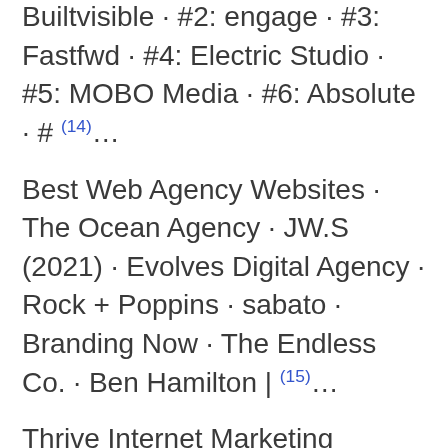Builtvisible · #2: engage · #3: Fastfwd · #4: Electric Studio · #5: MOBO Media · #6: Absolute · # (14)...
Best Web Agency Websites · The Ocean Agency · JW.S (2021) · Evolves Digital Agency · Rock + Poppins · sabato · Branding Now · The Endless Co. · Ben Hamilton | (15)...
Thrive Internet Marketing Agency is a full-service digital marketing agency. used Organic and Local seo to rank Stovall's new CRO focused website in the